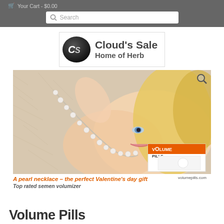Your Cart - $0.00
Search
[Figure (logo): Cloud's Sale Home of Herb logo with CS circle emblem]
[Figure (photo): Blonde woman lying on fur holding pearl necklace, with Volume Pills product box overlay]
A pearl necklace - the perfect Valentine's day gift
Top rated semen volumizer
volumepills.com
Volume Pills